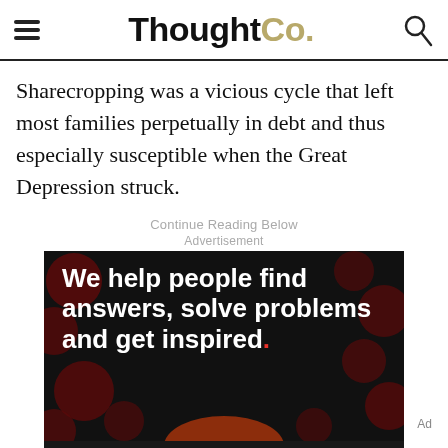ThoughtCo.
Sharecropping was a vicious cycle that left most families perpetually in debt and thus especially susceptible when the Great Depression struck.
Continue Reading Below
Advertisement
[Figure (photo): Advertisement banner for Dotdash Meredith showing text 'We help people find answers, solve problems and get inspired.' on dark background with circular dot patterns.]